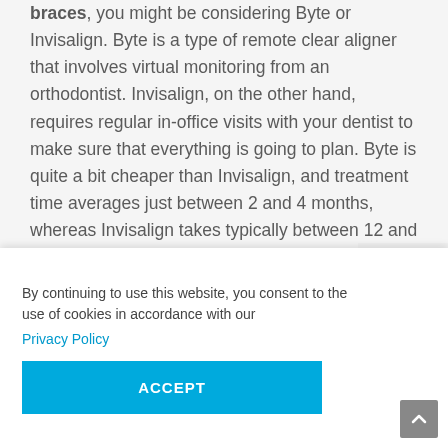braces, you might be considering Byte or Invisalign. Byte is a type of remote clear aligner that involves virtual monitoring from an orthodontist. Invisalign, on the other hand, requires regular in-office visits with your dentist to make sure that everything is going to plan. Byte is quite a bit cheaper than Invisalign, and treatment time averages just between 2 and 4 months, whereas Invisalign takes typically between 12 and 18 months.
By continuing to use this website, you consent to the use of cookies in accordance with our
Privacy Policy
ACCEPT
isn't too option